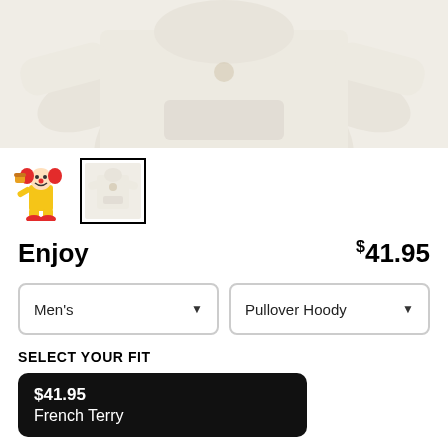[Figure (photo): Product photo of a light cream/off-white pullover hoodie displayed flat, showing front with small graphic and both sleeves extended to sides]
[Figure (photo): Thumbnail 1: Ronald McDonald clown character illustration]
[Figure (photo): Thumbnail 2 (selected with border): White pullover hoodie with small graphic, selected thumbnail]
Enjoy
$41.95
Men's
Pullover Hoody
SELECT YOUR FIT
$41.95
French Terry